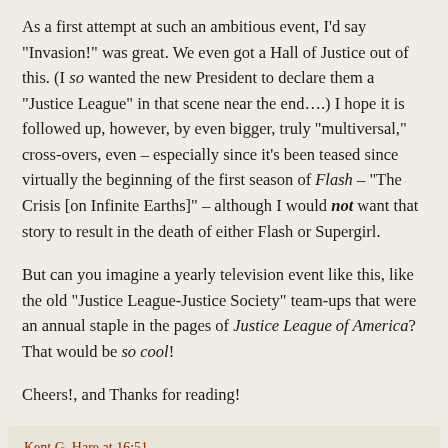As a first attempt at such an ambitious event, I'd say "Invasion!" was great. We even got a Hall of Justice out of this. (I so wanted the new President to declare them a "Justice League" in that scene near the end….) I hope it is followed up, however, by even bigger, truly "multiversal," cross-overs, even – especially since it's been teased since virtually the beginning of the first season of Flash – "The Crisis [on Infinite Earths]" – although I would not want that story to result in the death of either Flash or Supergirl.
But can you imagine a yearly television event like this, like the old "Justice League-Justice Society" team-ups that were an annual staple in the pages of Justice League of America? That would be so cool!
Cheers!, and Thanks for reading!
Kent G. Hare at 16:51
No comments: